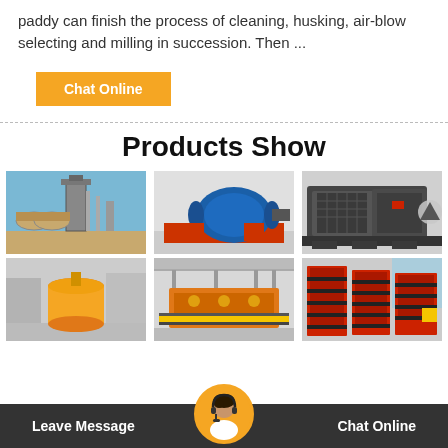paddy can finish the process of cleaning, husking, air-blow selecting and milling in succession. Then ...
Chat Online
Products Show
[Figure (photo): Industrial rotary kiln or drum equipment at a factory outdoor setting]
[Figure (photo): Large blue ball mill machine inside an industrial facility with red frame]
[Figure (photo): Heavy dark grey mobile crusher or screening machine in a factory]
[Figure (photo): Orange cylindrical tank or agitation barrel in a workshop]
[Figure (photo): Industrial flotation or processing machine in a large facility]
[Figure (photo): Red and black crusher or jaw crusher parts in a factory]
Leave Message   Chat Online